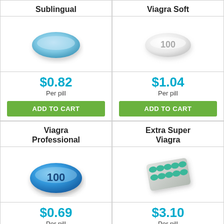Sublingual
[Figure (illustration): Blue flat diamond-shaped pill (Viagra Sublingual)]
$0.82 Per pill
ADD TO CART
Viagra Soft
[Figure (illustration): White oval pill marked 100 (Viagra Soft)]
$1.04 Per pill
ADD TO CART
Viagra Professional
[Figure (illustration): Blue oval pill marked 100 (Viagra Professional)]
$0.69 Per pill
ADD TO CART
Extra Super Viagra
[Figure (illustration): Blister pack of green/teal pills (Extra Super Viagra)]
$3.10 Per pill
ADD TO CART